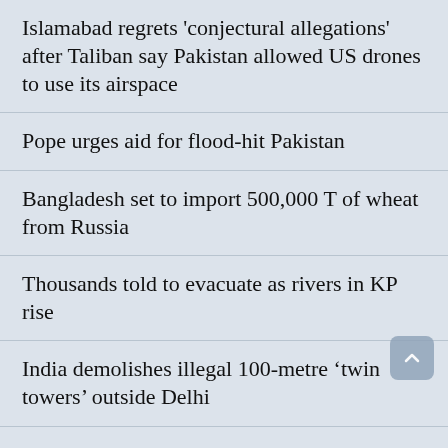Islamabad regrets 'conjectural allegations' after Taliban say Pakistan allowed US drones to use its airspace
Pope urges aid for flood-hit Pakistan
Bangladesh set to import 500,000 T of wheat from Russia
Thousands told to evacuate as rivers in KP rise
India demolishes illegal 100-metre ‘twin towers’ outside Delhi
Swiss group to launch petition to rethink nuclear power plans
Japan’s Suzuki says to set up new global research company in India
‘Most difficult part is behind us now’: SBP official defends quick hikes in key policy rate